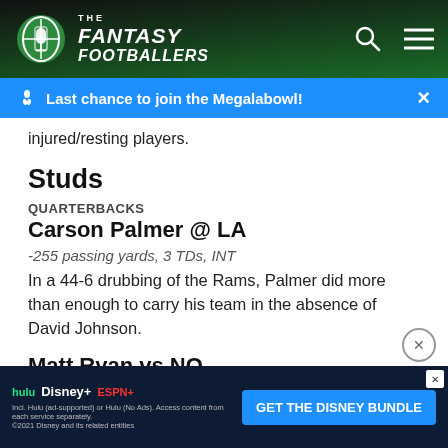The Fantasy Footballers
Last chance to join the Megalabowl!
injured/resting players.
Studs
QUARTERBACKS
Carson Palmer @ LA
-255 passing yards, 3 TDs, INT
In a 44-6 drubbing of the Rams, Palmer did more than enough to carry his team in the absence of David Johnson.
Matt Ryan vs NO
-331 passing yards, 4 TDs
[Figure (screenshot): Disney Bundle advertisement banner with Hulu, Disney+, ESPN+ logos and GET THE DISNEY BUNDLE call to action]